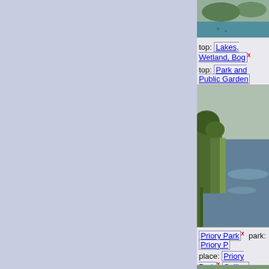[Figure (photo): Lake photo thumbnail at top]
type: Geograph x  water feature: Lake x  subject: Lake
top: Lakes, Wetland, Bog x
top: Park and Public Garden
Priory Lake, Priory Park, Bedford by PAUL FARMER geograph for square TL0 Tags: place: Bedford x  Bed type: Geograph x  subject: L Lake x  water feature: Lake top: Lakes, Wetland, Bog x
[Figure (photo): Priory Lake photo thumbnail]
Priory Park x  park: Priory P place: Priory Park x  Sailing
Lake at Ightham Mote b FARMER geograph for square TQ5 Tags: Gardens x  type: Geo top: Historic Sites and Artefa
[Figure (photo): Ightham Mote lake photo thumbnail]
Ightham Mote x
place: Ightham Mote x  sub